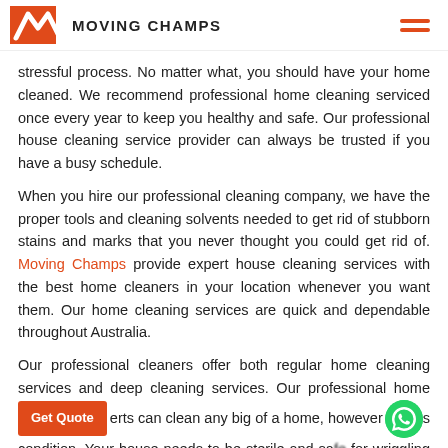Moving Champs
stressful process. No matter what, you should have your home cleaned. We recommend professional home cleaning serviced once every year to keep you healthy and safe. Our professional house cleaning service provider can always be trusted if you have a busy schedule.
When you hire our professional cleaning company, we have the proper tools and cleaning solvents needed to get rid of stubborn stains and marks that you never thought you could get rid of. Moving Champs provide expert house cleaning services with the best home cleaners in your location whenever you want them. Our home cleaning services are quick and dependable throughout Australia.
Our professional cleaners offer both regular home cleaning services and deep cleaning services. Our professional home experts can clean any big of a home, however its condition. Your house needs to be sterile and safe for wriggling toddlers and infants. Professional house cleaning of